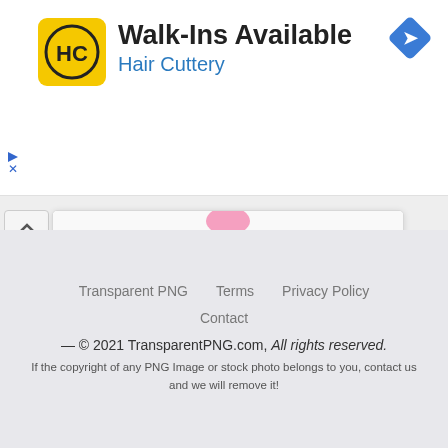[Figure (screenshot): Advertisement banner for Hair Cuttery: logo (yellow square with HC letters), text 'Walk-Ins Available' and 'Hair Cuttery' in blue, blue diamond navigation icon on right. Ad controls with triangle play icon and X below on left.]
[Figure (screenshot): Card UI showing bottom of a birthday cake with brown frosting and pink flower decorations. Card has title 'Birthday Candles Cake High Qualit...' dimensions '531x527' and number '5' on the right. Card has a collapse/up-arrow button to its left.]
Transparent PNG    Terms    Privacy Policy

Contact

— © 2021 TransparentPNG.com, All rights reserved.

If the copyright of any PNG Image or stock photo belongs to you, contact us and we will remove it!